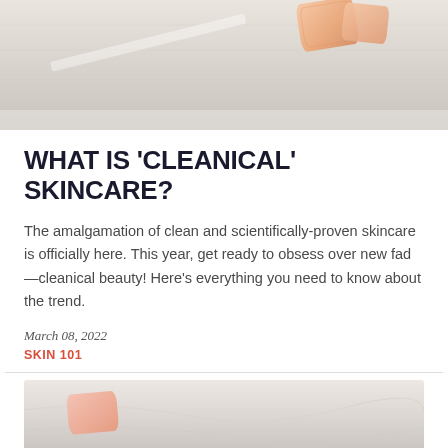[Figure (photo): Top portion of a photo showing skincare products (soap/beauty bars) on a light grey fabric/linen background]
WHAT IS 'CLEANICAL' SKINCARE?
The amalgamation of clean and scientifically-proven skincare is officially here. This year, get ready to obsess over new fad—cleanical beauty! Here's everything you need to know about the trend.
March 08, 2022
SKIN 101
[Figure (photo): Bottom partial photo showing skincare products on a marble-like surface]